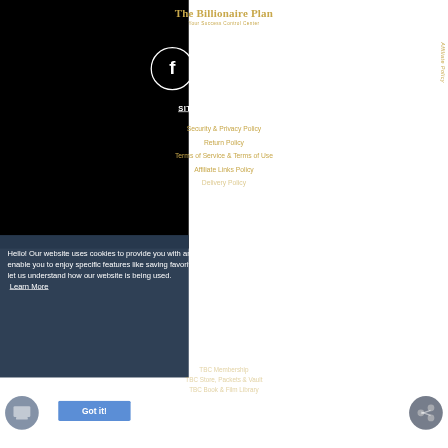The Billionaire Plan
Your Success Control Center
[Figure (illustration): Three social media icons in circles: Facebook, Instagram, YouTube]
SITE TERMS & POLICY
Security & Privacy Policy
Return Policy
Terms of Service & Terms of Use
Affiliate Links Policy
Delivery Policy
Affiliate Policy
Hello! Our website uses cookies to provide you with an awesome user experience. Cookies enable you to enjoy specific features like saving favorites, your shopping bag and more. They also let us understand how our website is being used.
Learn More
Got it!
TBC Membership
TBC Store, Packets & Vault
TBC Book & Film Library